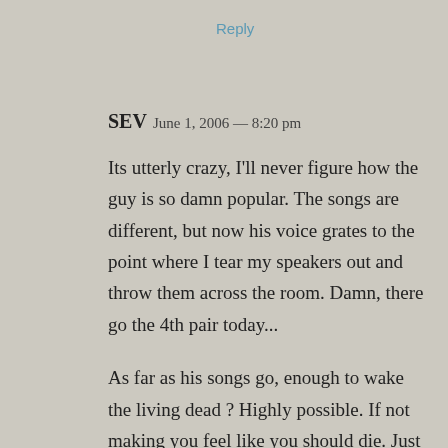Reply
SEV  June 1, 2006 — 8:20 pm
Its utterly crazy, I'll never figure how the guy is so damn popular. The songs are different, but now his voice grates to the point where I tear my speakers out and throw them across the room. Damn, there go the 4th pair today...
As far as his songs go, enough to wake the living dead ? Highly possible. If not making you feel like you should die. Just